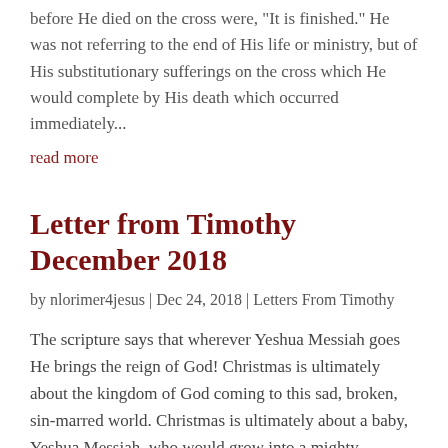before He died on the cross were, "It is finished." He was not referring to the end of His life or ministry, but of His substitutionary sufferings on the cross which He would complete by His death which occurred immediately...
read more
Letter from Timothy December 2018
by nlorimer4jesus | Dec 24, 2018 | Letters From Timothy
The scripture says that wherever Yeshua Messiah goes He brings the reign of God! Christmas is ultimately about the kingdom of God coming to this sad, broken, sin-marred world. Christmas is ultimately about a baby, Yeshua Messiah, who would grow into a mighty